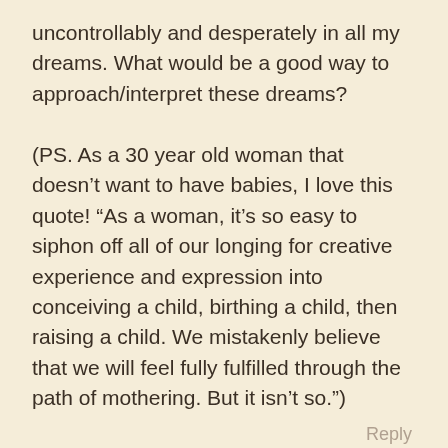uncontrollably and desperately in all my dreams. What would be a good way to approach/interpret these dreams?

(PS. As a 30 year old woman that doesn’t want to have babies, I love this quote! “As a woman, it’s so easy to siphon off all of our longing for creative experience and expression into conceiving a child, birthing a child, then raising a child. We mistakenly believe that we will feel fully fulfilled through the path of mothering. But it isn’t so.”)
Reply
Sheryl Paul on May 13, 2019 at 8:41 pm